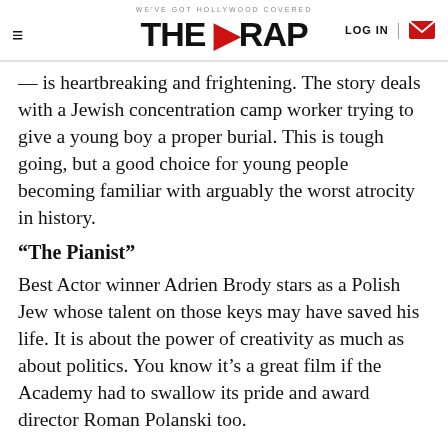WE'VE GOT HOLLYWOOD COVERED | THE WRAP | LOG IN
— is heartbreaking and frightening. The story deals with a Jewish concentration camp worker trying to give a young boy a proper burial. This is tough going, but a good choice for young people becoming familiar with arguably the worst atrocity in history.
“The Pianist”
Best Actor winner Adrien Brody stars as a Polish Jew whose talent on those keys may have saved his life. It is about the power of creativity as much as about politics. You know it’s a great film if the Academy had to swallow its pride and award director Roman Polanski too.